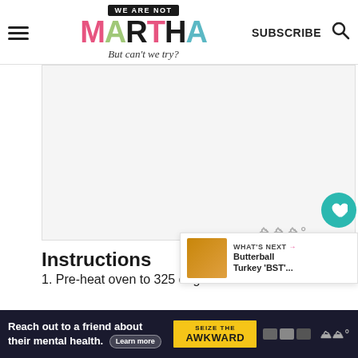WE ARE NOT MARTHA — But can't we try? — SUBSCRIBE
[Figure (photo): Large recipe photo placeholder (light gray box)]
Instructions
1. Pre-heat oven to 325 degrees.  Remove the
[Figure (infographic): Ad banner: Reach out to a friend about their mental health. Learn more. SEIZE THE AWKWARD.]